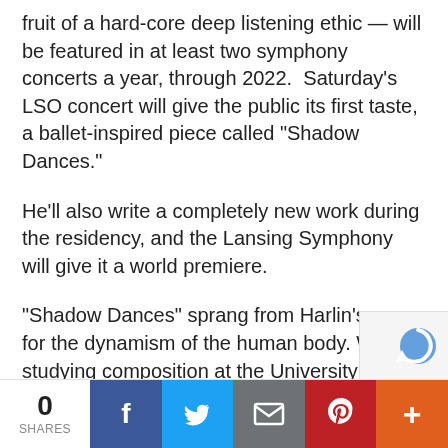fruit of a hard-core deep listening ethic — will be featured in at least two symphony concerts a year, through 2022.  Saturday's LSO concert will give the public its first taste, a ballet-inspired piece called “Shadow Dances.”
He’ll also write a completely new work during the residency, and the Lansing Symphony will give it a world premiere.
“Shadow Dances” sprang from Harlin’s awe for the dynamism of the human body. While studying composition at the University of Michigan, he played piano for a modern dance class.
“I started to imagine a piece of music for a dancer that had superhuman abilities, that moved beyond our natural world of physics,” he said.
0 SHARES | Facebook | Twitter | Email | Pinterest | +